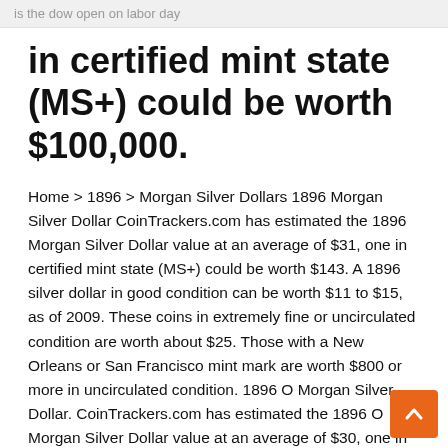is the dow open on labor day
in certified mint state (MS+) could be worth $100,000.
Home > 1896 > Morgan Silver Dollars 1896 Morgan Silver Dollar CoinTrackers.com has estimated the 1896 Morgan Silver Dollar value at an average of $31, one in certified mint state (MS+) could be worth $143. A 1896 silver dollar in good condition can be worth $11 to $15, as of 2009. These coins in extremely fine or uncirculated condition are worth about $25. Those with a New Orleans or San Francisco mint mark are worth $800 or more in uncirculated condition. 1896 O Morgan Silver Dollar. CoinTrackers.com has estimated the 1896 O Morgan Silver Dollar value at an average of $30, one in certified mint state (MS+) could be worth $100,000. 1896 is a common date for Morgan Dollars. Look on the back of the coin to see if there small mint mark letter above the DO in DOLLAR. It may be blank